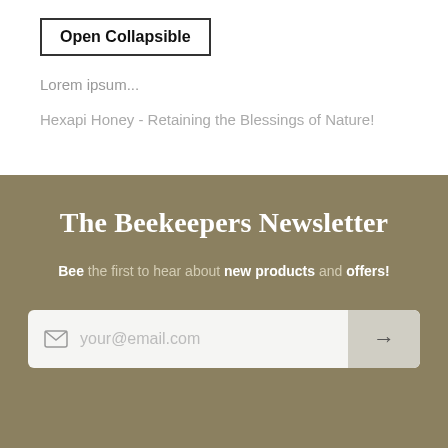Open Collapsible
Lorem ipsum...
Hexapi Honey - Retaining the Blessings of Nature!
The Beekeepers Newsletter
Bee the first to hear about new products and offers!
your@email.com